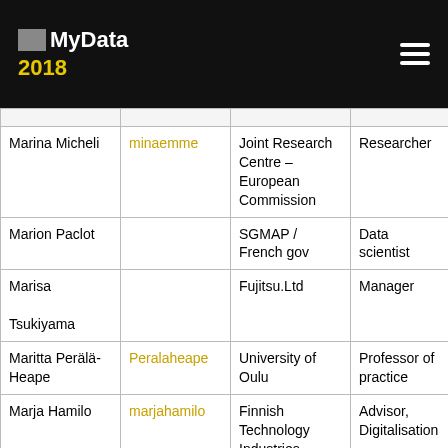MyData 2018
| Name | Username | Organization | Role |
| --- | --- | --- | --- |
| Marina Micheli | minaemme | Joint Research Centre – European Commission | Researcher |
| Marion Paclot |  | SGMAP / French gov | Data scientist |
| Marisa Tsukiyama |  | Fujitsu.Ltd | Manager |
| Maritta Perälä-Heape | Peralaheape | University of Oulu | Professor of practice |
| Marja Hamilo | marjahamilo | Finnish Technology Industries | Advisor, Digitalisation |
| Marja Pirttivaara | Marja_P | Sitra | Leading Specialist |
| Marjukka Niinioja |  | Osaango Oy | Founding par... & API consul... |
| Marjut Amonff |  |  |  |